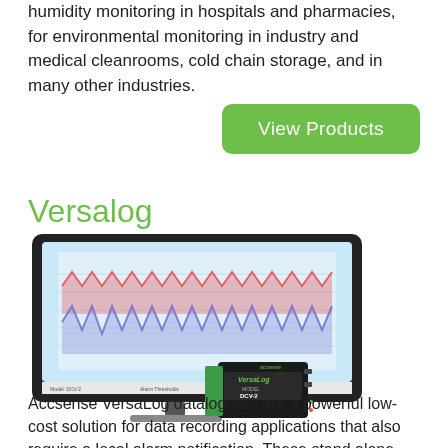humidity monitoring in hospitals and pharmacies, for environmental monitoring in industry and medical cleanrooms, cold chain storage, and in many other industries.
View Products
Versalog
[Figure (photo): Photo of a computer monitor displaying VersaLog software with a temperature/humidity data chart showing red and blue waveforms, with a VersaLog DCV-2 datalogger device in the foreground connected to terminal blocks.]
Accsense VersaLog dataloggers are a powerful low-cost solution for data recording applications that also require a local alarm notification. These stand alone